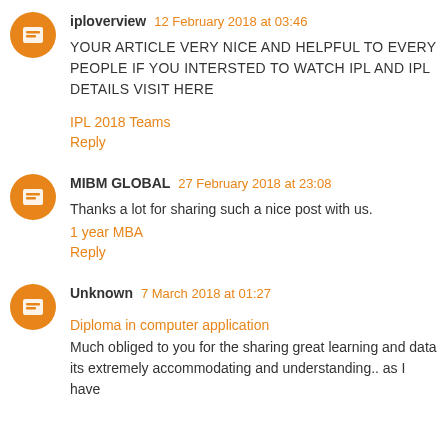iploverview 12 February 2018 at 03:46 — YOUR ARTICLE VERY NICE AND HELPFUL TO EVERY PEOPLE IF YOU INTERSTED TO WATCH IPL AND IPL DETAILS VISIT HERE — IPL 2018 Teams — Reply
MIBM GLOBAL 27 February 2018 at 23:08 — Thanks a lot for sharing such a nice post with us. 1 year MBA — Reply
Unknown 7 March 2018 at 01:27 — Diploma in computer application — Much obliged to you for the sharing great learning and data its extremely accommodating and understanding.. as I have